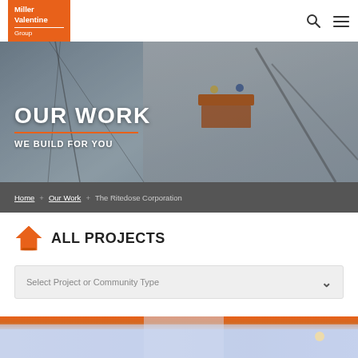[Figure (logo): Miller Valentine Group orange logo box with white text]
[Figure (photo): Construction site hero image showing workers on a scissor lift next to a large concrete tilt-up wall panel being erected by a crane]
OUR WORK
WE BUILD FOR YOU
Home + Our Work + The Ritedose Corporation
ALL PROJECTS
Select Project or Community Type
[Figure (photo): Bottom portion of a commercial building exterior at dusk/night with blue sky and orange accent, partially cropped]